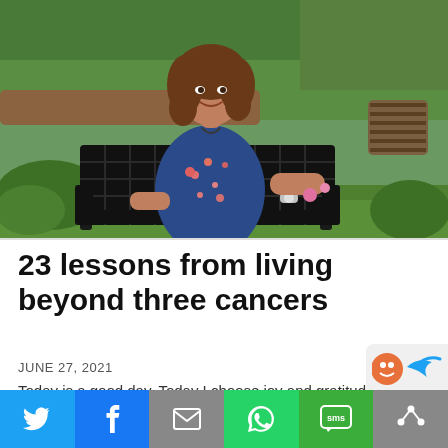[Figure (photo): Woman with curly brown hair sitting on a dark metal garden bench outdoors, wearing a blue floral sleeveless dress with turquoise bracelet, smiling, in a green garden setting with grass and a metal barrel planter in the background.]
23 lessons from living beyond three cancers
JUNE 27, 2021
Today is a good day. Today I choose joy and gratitude